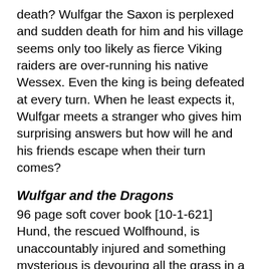death? Wulfgar the Saxon is perplexed and sudden death for him and his village seems only too likely as fierce Viking raiders are over-running his native Wessex. Even the king is being defeated at every turn. When he least expects it, Wulfgar meets a stranger who gives him surprising answers but how will he and his friends escape when their turn comes?
Wulfgar and the Dragons
96 page soft cover book [10-1-621]
Hund, the rescued Wolfhound, is unaccountably injured and something mysterious is devouring all the grass in a riverside hayfield. Wulfgar and Morcant decide to keep watch and find out just what is afoot near the village. It's all bigger than they bargained for – do they tell the Thane or just